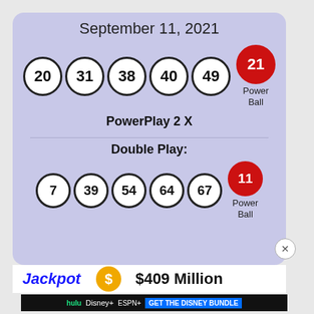September 11, 2021
[Figure (infographic): Powerball lottery results for September 11, 2021. Main draw numbers: 20, 31, 38, 40, 49 with Powerball 21. PowerPlay 2X. Double Play numbers: 7, 39, 54, 64, 67 with Powerball 11.]
PowerPlay 2 X
Double Play:
Jackpot  $409 Million